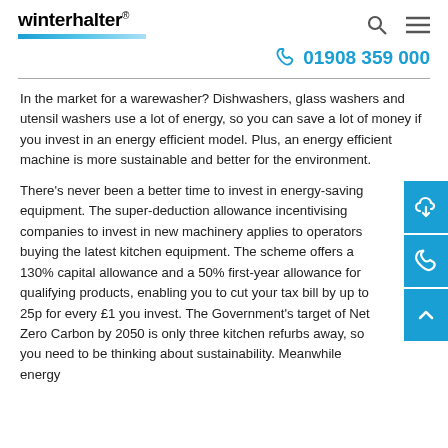winterhalter
01908 359 000
In the market for a warewasher? Dishwashers, glass washers and utensil washers use a lot of energy, so you can save a lot of money if you invest in an energy efficient model. Plus, an energy efficient machine is more sustainable and better for the environment.
There’s never been a better time to invest in energy-saving equipment. The super-deduction allowance incentivising companies to invest in new machinery applies to operators buying the latest kitchen equipment. The scheme offers a 130% capital allowance and a 50% first-year allowance for qualifying products, enabling you to cut your tax bill by up to 25p for every £1 you invest. The Government’s target of Net Zero Carbon by 2050 is only three kitchen refurbs away, so you need to be thinking about sustainability. Meanwhile energy